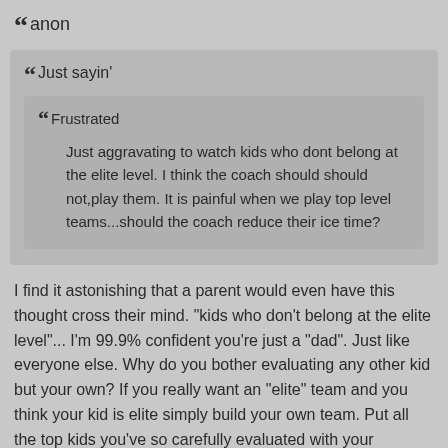anon
Just sayin'
Frustrated
Just aggravating to watch kids who dont belong at the elite level. I think the coach should should not,play them. It is painful when we play top level teams...should the coach reduce their ice time?
I find it astonishing that a parent would even have this thought cross their mind. "kids who don't belong at the elite level"... I'm 99.9% confident you're just a "dad". Just like everyone else. Why do you bother evaluating any other kid but your own? If you really want an "elite" team and you think your kid is elite simply build your own team. Put all the top kids you've so carefully evaluated with your incredible eye for talent and put together an independent schedule. Plenty of